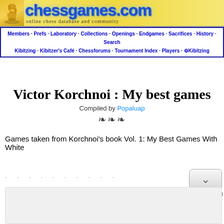[Figure (logo): chessgames.com logo with chess knight icon, site title in blue gradient, and tagline 'online chess database and community']
Members · Prefs · Laboratory · Collections · Openings · Endgames · Sacrifices · History · Search Kibitzing · Kibitzer's Café · Chessforums · Tournament Index · Players · Kibitzing
Victor Korchnoi : My best games
Compiled by Popaluap
Games taken from Korchnoi's book Vol. 1: My Best Games With White